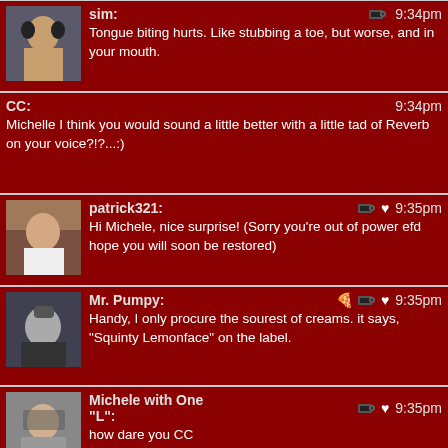sim: 9:34pm — Tongue biting hurts. Like stubbing a toe, but worse, and in your mouth.
CC: 9:34pm — Michelle I think you would sound a little better with a little tad of Reverb on your voice?!?...:)
patrick321: 9:35pm — Hi Michele, nice surprise! (Sorry you're out of power efd hope you will soon be restored)
Mr. Pumpy: 9:35pm — Handy, I only procure the sourest of creams. it says, "Squinty Lemonface" on the label.
Michele with One "L": 9:35pm — how dare you CC
Ken From Hyde Park: 9:36pm — I usually get more nosebleeds in December.
sim: 9:36pm — You want stoner jams, Rose City Band. Every single track is drenched.